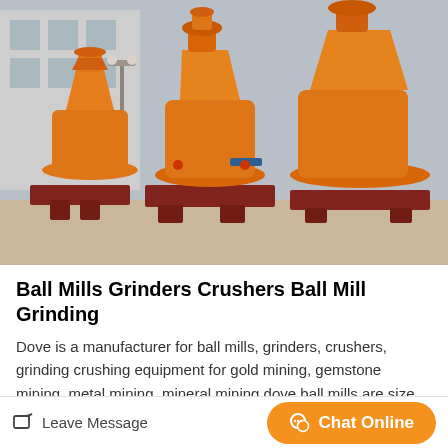[Figure (photo): Multiple large orange industrial ball mills and grinders on red/dark metal frames, parked outdoors in an industrial yard with a building visible in the background.]
Ball Mills Grinders Crushers Ball Mill Grinding
Dove is a manufacturer for ball mills, grinders, crushers, grinding crushing equipment for gold mining, gemstone mining, metal mining, mineral mining dove ball mills are size reduction machin…
Leave Message
Chat Online